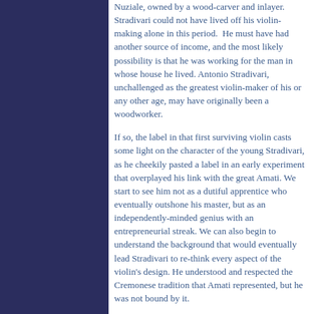Nuziale, owned by a wood-carver and inlayer. Stradivari could not have lived off his violin-making alone in this period. He must have had another source of income, and the most likely possibility is that he was working for the man in whose house he lived. Antonio Stradivari, unchallenged as the greatest violin-maker of his or any other age, may have originally been a woodworker.
If so, the label in that first surviving violin casts some light on the character of the young Stradivari, as he cheekily pasted a label in an early experiment that overplayed his link with the great Amati. We start to see him not as a dutiful apprentice who eventually outshone his master, but as an independently-minded genius with an entrepreneurial streak. We can also begin to understand the background that would eventually lead Stradivari to re-think every aspect of the violin's design. He understood and respected the Cremonese tradition that Amati represented, but he was not bound by it.